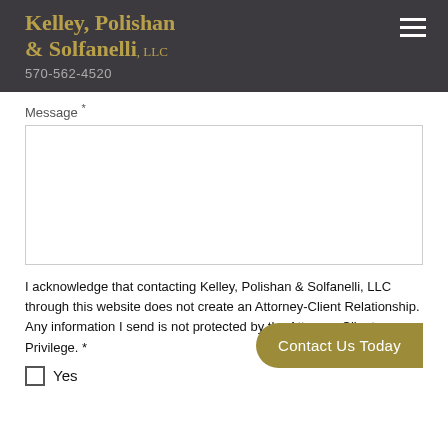Kelley, Polishan & Solfanelli, LLC
570-562-4520
Message *
I acknowledge that contacting Kelley, Polishan & Solfanelli, LLC through this website does not create an Attorney-Client Relationship. Any information I send is not protected by the Attorney-Client Privilege. *
Yes